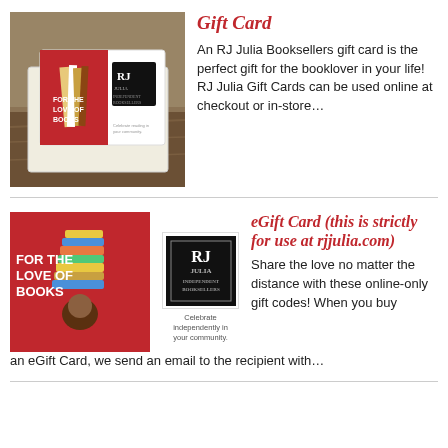[Figure (photo): Photo of an RJ Julia Booksellers gift card in a white envelope, displayed on a wooden surface with a bookstore background]
Gift Card
An RJ Julia Booksellers gift card is the perfect gift for the booklover in your life! RJ Julia Gift Cards can be used online at checkout or in-store…
[Figure (photo): Digital image of RJ Julia Booksellers eGift Card with red background, text 'FOR THE LOVE OF BOOKS' and illustration of a person reading]
[Figure (logo): RJ Julia Booksellers logo — black square with 'RJ Julia Independent Booksellers' text]
eGift Card (this is strictly for use at rjjulia.com)
Share the love no matter the distance with these online-only gift codes! When you buy an eGift Card, we send an email to the recipient with…